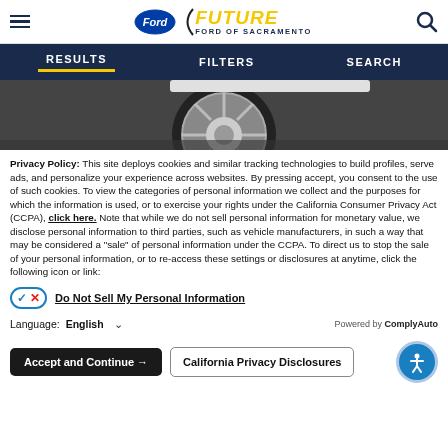[Figure (logo): Future Ford of Sacramento logo with Ford oval badge and hamburger menu icon and search icon]
RESULTS   FILTERS   SEARCH
[Figure (photo): Close-up photo of a car wheel/tire on a dark surface]
Privacy Policy: This site deploys cookies and similar tracking technologies to build profiles, serve ads, and personalize your experience across websites. By pressing accept, you consent to the use of such cookies. To view the categories of personal information we collect and the purposes for which the information is used, or to exercise your rights under the California Consumer Privacy Act (CCPA), click here. Note that while we do not sell personal information for monetary value, we disclose personal information to third parties, such as vehicle manufacturers, in such a way that may be considered a "sale" of personal information under the CCPA. To direct us to stop the sale of your personal information, or to re-access these settings or disclosures at anytime, click the following icon or link:
Do Not Sell My Personal Information
Language:  English   Powered by ComplyAuto
Accept and Continue →   California Privacy Disclosures